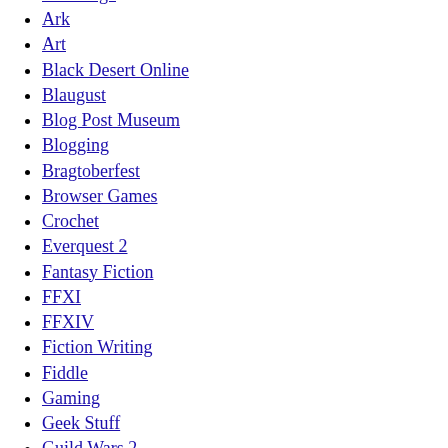ArcheAge
Ark
Art
Black Desert Online
Blaugust
Blog Post Museum
Blogging
Bragtoberfest
Browser Games
Crochet
Everquest 2
Fantasy Fiction
FFXI
FFXIV
Fiction Writing
Fiddle
Gaming
Geek Stuff
Guild Wars 2
H1Z1
Holidays
Internet
IRL
Kitty Korner
Landmark
Lost Ark